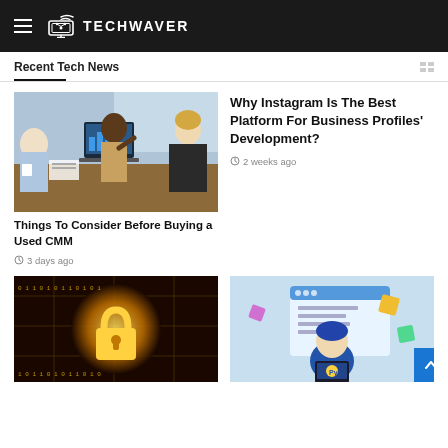TECHWAVER
Recent Tech News
[Figure (photo): Three people in a business meeting around a laptop, one person pointing at the screen]
Why Instagram Is The Best Platform For Business Profiles' Development?
2 weeks ago
Things To Consider Before Buying a Used CMM
3 days ago
[Figure (photo): Golden glowing padlock on a circuit board background with binary code — cybersecurity concept]
[Figure (illustration): Illustrated person in blue holding a laptop with Python logo, surrounded by colorful floating shapes on a light blue background]